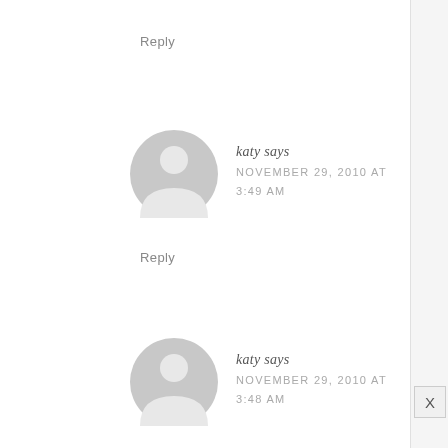Reply
[Figure (illustration): Generic user avatar icon (gray silhouette of a person in a circle)]
katy says
NOVEMBER 29, 2010 AT 3:49 AM
Reply
[Figure (illustration): Generic user avatar icon (gray silhouette of a person in a circle)]
katy says
NOVEMBER 29, 2010 AT 3:48 AM